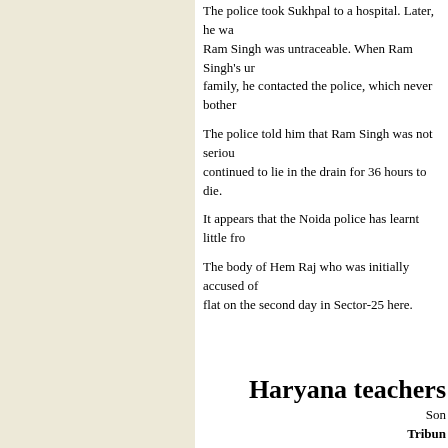The police took Sukhpal to a hospital. Later, he was released and Ram Singh was untraceable. When Ram Singh's uncle came to meet the family, he contacted the police, which never bother...
The police told him that Ram Singh was not serious... continued to lie in the drain for 36 hours to die.
It appears that the Noida police has learnt little fro...
The body of Hem Raj who was initially accused of... flat on the second day in Sector-25 here.
Haryana teachers
Som
Tribun
Gurgaon, March 9
The post of the lecturer does not seem to interest th... of the lecturer grade and master grade teachers are...
According to the new pay scales, the junior teacher... teachers feel that it is better to remain at the same p...
The scenario remains the same for JBT teachers too... than their seniors. To cap it, there is just a differenc...